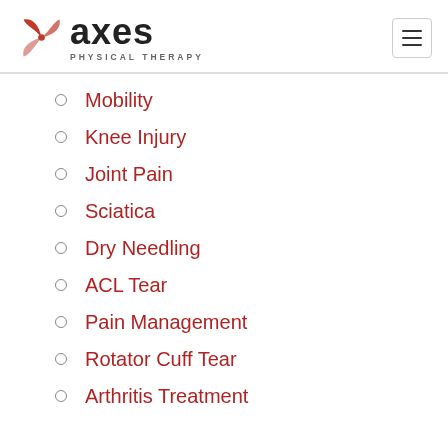[Figure (logo): Axes Physical Therapy logo with red pinwheel icon and bold black 'axes' text with 'PHYSICAL THERAPY' subtitle]
Mobility
Knee Injury
Joint Pain
Sciatica
Dry Needling
ACL Tear
Pain Management
Rotator Cuff Tear
Arthritis Treatment